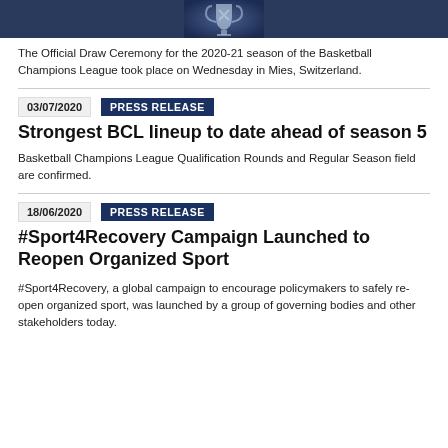[Figure (photo): Photo strip at top showing a basketball trophy/award against a dark blue background]
The Official Draw Ceremony for the 2020-21 season of the Basketball Champions League took place on Wednesday in Mies, Switzerland.
03/07/2020  PRESS RELEASE
Strongest BCL lineup to date ahead of season 5
Basketball Champions League Qualification Rounds and Regular Season field are confirmed.
18/06/2020  PRESS RELEASE
#Sport4Recovery Campaign Launched to Reopen Organized Sport
#Sport4Recovery, a global campaign to encourage policymakers to safely re-open organized sport, was launched by a group of governing bodies and other stakeholders today.